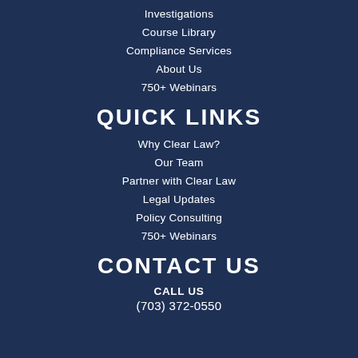Investigations
Course Library
Compliance Services
About Us
750+ Webinars
QUICK LINKS
Why Clear Law?
Our Team
Partner with Clear Law
Legal Updates
Policy Consulting
750+ Webinars
CONTACT US
CALL US
(703) 372-0550